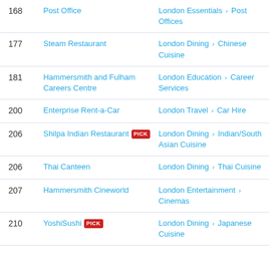| # | Name | Category |
| --- | --- | --- |
| 168 | Post Office | London Essentials > Post Offices |
| 177 | Steam Restaurant | London Dining > Chinese Cuisine |
| 181 | Hammersmith and Fulham Careers Centre | London Education > Career Services |
| 200 | Enterprise Rent-a-Car | London Travel > Car Hire |
| 206 | Shilpa Indian Restaurant [PICK] | London Dining > Indian/South Asian Cuisine |
| 206 | Thai Canteen | London Dining > Thai Cuisine |
| 207 | Hammersmith Cineworld | London Entertainment > Cinemas |
| 210 | YoshiSushi [PICK] | London Dining > Japanese Cuisine |